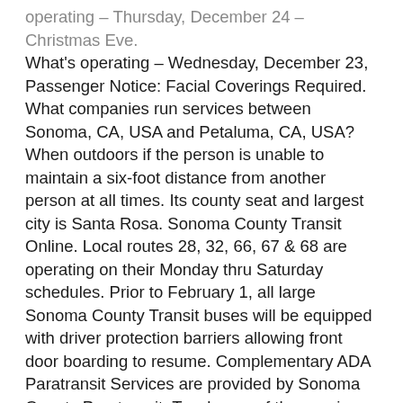operating – Thursday, December 24 – Christmas Eve. What's operating – Wednesday, December 23, Passenger Notice: Facial Coverings Required. What companies run services between Sonoma, CA, USA and Petaluma, CA, USA? When outdoors if the person is unable to maintain a six-foot distance from another person at all times. Its county seat and largest city is Santa Rosa. Sonoma County Transit Online. Local routes 28, 32, 66, 67 & 68 are operating on their Monday thru Saturday schedules. Prior to February 1, all large Sonoma County Transit buses will be equipped with driver protection barriers allowing front door boarding to resume. Complementary ADA Paratransit Services are provided by Sonoma County Paratransit. Two boxes of the vaccine, containing a total of 1,950 doses, arrived at the County's Public Health Lab on Chanate Road shortly before 9 a.m. today. 355 W. Robles Ave.Santa Rosa CA 95407(707) 576-7433(800) 345-74338:00AM - 5:00PMWeekdays, >> continue to interactive all routes map, Cotati, Rohnert Park, Sonoma State University, Russian River Area, Forestville...